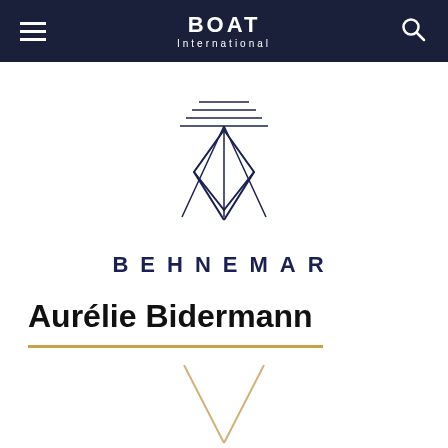BOAT International
[Figure (logo): Behnemar brand logo: a geometric ship/diamond shape above the text BEHNEMAR in spaced navy letters]
Aurélie Bidermann
[Figure (photo): Partial view of a gold V-shaped necklace on white background]